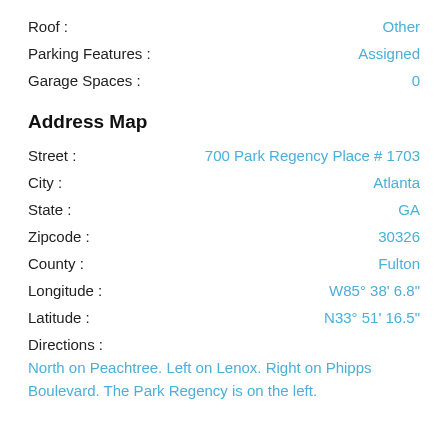Roof : Other
Parking Features : Assigned
Garage Spaces : 0
Address Map
Street : 700 Park Regency Place # 1703
City : Atlanta
State : GA
Zipcode : 30326
County : Fulton
Longitude : W85° 38' 6.8"
Latitude : N33° 51' 16.5"
Directions :
North on Peachtree. Left on Lenox. Right on Phipps Boulevard. The Park Regency is on the left.